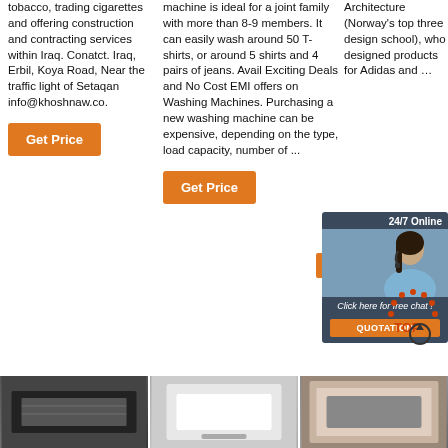tobacco, trading cigarettes and offering construction and contracting services within Iraq. Conatct. Iraq, Erbil, Koya Road, Near the traffic light of Setaqan info@khoshnaw.co.
machine is ideal for a joint family with more than 8-9 members. It can easily wash around 50 T-shirts, or around 5 shirts and 4 pairs of jeans. Avail Exciting Deals and No Cost EMI offers on Washing Machines. Purchasing a new washing machine can be expensive, depending on the type, load capacity, number of ...
Architecture (Norway's top three design school), who designed products for Adidas and …
[Figure (other): 24/7 Online chat support banner with woman wearing headset, button: Click here for free chat! QUOTATION]
Get Pr...
Get Price
Get Price
[Figure (logo): TOP arrow circle logo in orange/red dotted pattern]
[Figure (photo): Product thumbnail image 1 - dark appliance]
[Figure (photo): Product thumbnail image 2 - white appliance]
[Figure (photo): Product thumbnail image 3 - appliance in box]